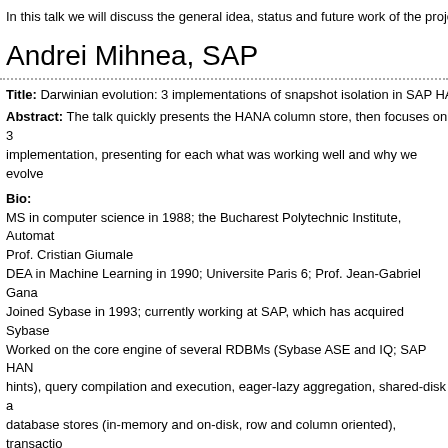In this talk we will discuss the general idea, status and future work of the proje
Andrei Mihnea, SAP
Title: Darwinian evolution: 3 implementations of snapshot isolation in SAP HA
Abstract: The talk quickly presents the HANA column store, then focuses on 3 implementation, presenting for each what was working well and why we evolve
Bio:
MS in computer science in 1988; the Bucharest Polytechnic Institute, Automat Prof. Cristian Giumale
DEA in Machine Learning in 1990; Universite Paris 6; Prof. Jean-Gabriel Gana
Joined Sybase in 1993; currently working at SAP, which has acquired Sybase
Worked on the core engine of several RDBMs (Sybase ASE and IQ; SAP HAN hints), query compilation and execution, eager-lazy aggregation, shared-disk a database stores (in-memory and on-disk, row and column oriented), transactio
David Broneske, PhD Student, Magdeburg
Title:  "Multi-Staged Query Compilation for modern Hardware"
Abstract: